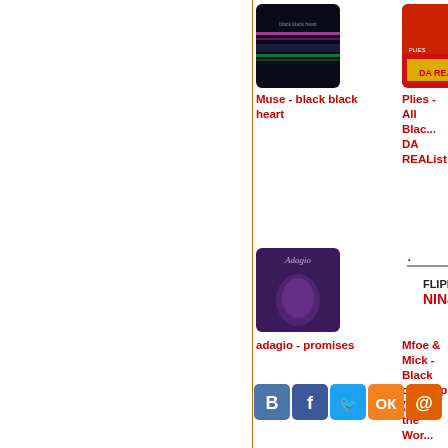[Figure (photo): Album cover for Muse - black black heart. Dark background with purple/green horizontal lines.]
Muse - black black heart
[Figure (photo): Album cover for Plies - All Black DA REAList. Shows person in red cap on red/yellow background.]
Plies - All Black DA REAList
[Figure (photo): Album cover for adagio - promises. Purple toned illustration with figure.]
adagio - promises
[Figure (photo): Album cover/logo for Mfoe & Mick - Black ops Rap (Drop the Wor...). Flippin Ninja logo on white background.]
Mfoe & Mick - Black ops Rap (Drop the Wor...
[Figure (infographic): Social media share buttons: VK (blue B), Facebook (blue f), Twitter (blue bird), Odnoklassniki (orange OK), Mail.ru (orange @)]